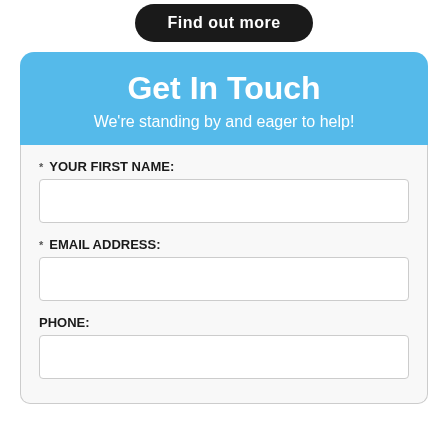[Figure (other): Dark rounded button labeled 'Find out more']
Get In Touch
We're standing by and eager to help!
* YOUR FIRST NAME:
* EMAIL ADDRESS:
PHONE: